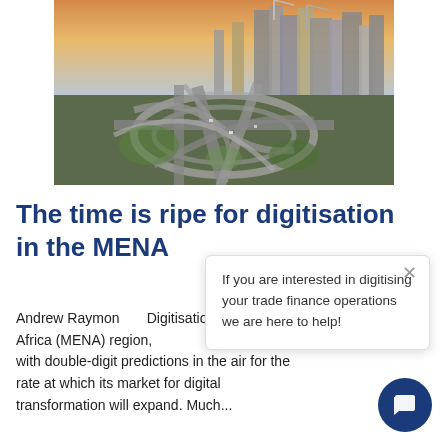[Figure (photo): Aerial photograph of a complex highway interchange with curved flyovers and skyscrapers in the background at dusk/golden hour — a MENA city skyline (likely Dubai).]
The time is ripe for digitisation in the MENA
Andrew Raymond... Digitisation is high... Middle East and North Africa (MENA) region, with double-digit predictions in the air for the rate at which its market for digital transformation will expand. Much...
If you are interested in digitising your trade finance operations we are here to help!